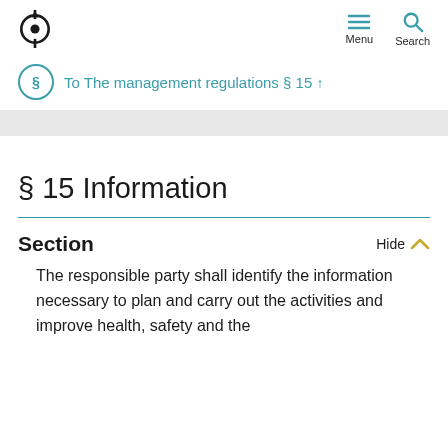Menu Search
To The management regulations § 15 ↑
§ 15 Information
Section
The responsible party shall identify the information necessary to plan and carry out the activities and improve health, safety and the